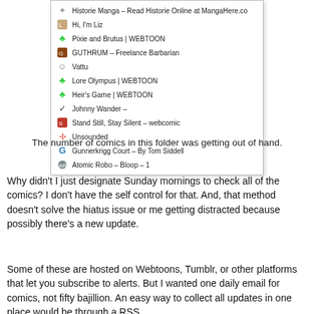[Figure (screenshot): Browser bookmarks dropdown list showing webcomic bookmarks including Historie Manga, Hi I'm Liz, Pixie and Brutus WEBTOON, GUTHRUM Freelance Barbarian, Vattu, Lore Olympus WEBTOON, Heir's Game WEBTOON, Johnny Wander, Stand Still Stay Silent webcomic, Unsounded, Gunnerkrigg Court By Tom Siddell, Atomic Robo Bloop 1]
The number of comics in this folder was getting out of hand.
Why didn't I just designate Sunday mornings to check all of the comics? I don't have the self control for that. And, that method doesn't solve the hiatus issue or me getting distracted because possibly there's a new update.
Some of these are hosted on Webtoons, Tumblr, or other platforms that let you subscribe to alerts. But I wanted one daily email for comics, not fifty bajillion. An easy way to collect all updates in one place would be through a RSS